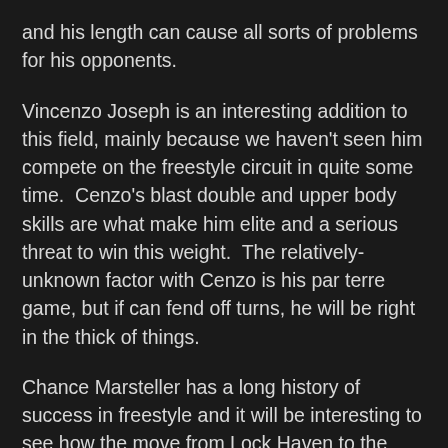and his length can cause all sorts of problems for his opponents.
Vincenzo Joseph is an interesting addition to this field, mainly because we haven't seen him compete on the freestyle circuit in quite some time.  Cenzo's blast double and upper body skills are what make him elite and a serious threat to win this weight.  The relatively-unknown factor with Cenzo is his par terre game, but if can fend off turns, he will be right in the thick of things.
Chance Marsteller has a long history of success in freestyle and it will be interesting to see how the move from Lock Haven to the Lehigh Valley Wrestling Club has affected him, if at all.  His underhook offense and crisp re-attacks make him a tough out for any of the top guys that are a little off their game.